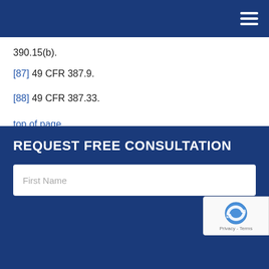Navigation bar with hamburger menu
390.15(b).
[87] 49 CFR 387.9.
[88] 49 CFR 387.33.
top of page
REQUEST FREE CONSULTATION
First Name